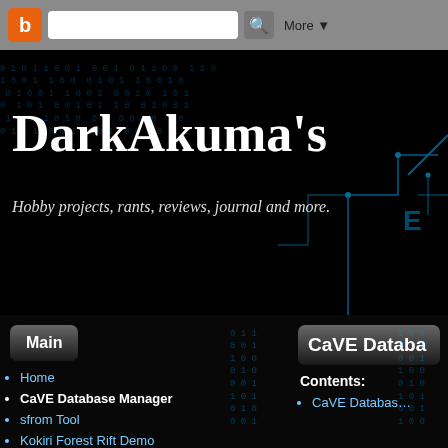Blogger toolbar with search and More button
DarkAkuma's
Hobby projects, rants, reviews, journal and more.
Main
Home
CaVE Database Manager
sfrom Tool
Kokiri Forest Rift Demo
W.A.R.P.
Z-Net Homepage
About Me
CaVE Databa…
Contents:
CaVE Databas…